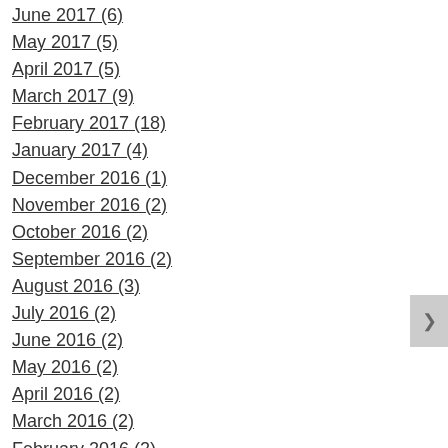June 2017 (6)
May 2017 (5)
April 2017 (5)
March 2017 (9)
February 2017 (18)
January 2017 (4)
December 2016 (1)
November 2016 (2)
October 2016 (2)
September 2016 (2)
August 2016 (3)
July 2016 (2)
June 2016 (2)
May 2016 (2)
April 2016 (2)
March 2016 (2)
February 2016 (2)
January 2016 (3)